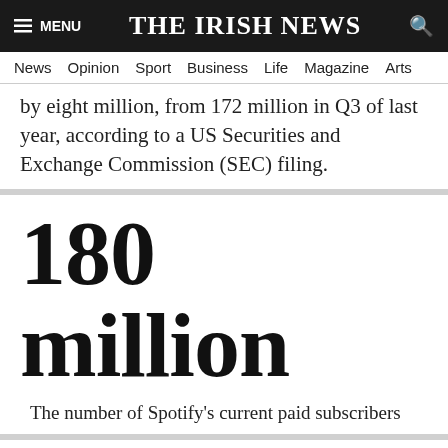THE IRISH NEWS
News  Opinion  Sport  Business  Life  Magazine  Arts
by eight million, from 172 million in Q3 of last year, according to a US Securities and Exchange Commission (SEC) filing.
180 million
The number of Spotify's current paid subscribers
But looking ahead Spotify said it expected slower growth to start off 2022, predicting the number of premium subscribers to rise to 180 million